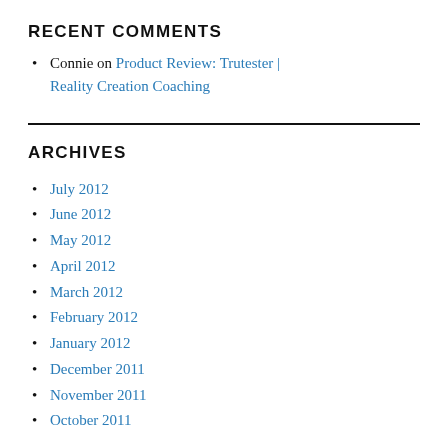RECENT COMMENTS
Connie on Product Review: Trutester | Reality Creation Coaching
ARCHIVES
July 2012
June 2012
May 2012
April 2012
March 2012
February 2012
January 2012
December 2011
November 2011
October 2011